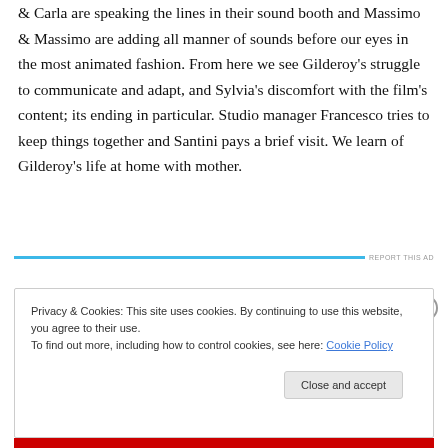& Carla are speaking the lines in their sound booth and Massimo & Massimo are adding all manner of sounds before our eyes in the most animated fashion. From here we see Gilderoy's struggle to communicate and adapt, and Sylvia's discomfort with the film's content; its ending in particular. Studio manager Francesco tries to keep things together and Santini pays a brief visit. We learn of Gilderoy's life at home with mother.
[Figure (other): Advertisement banner with blue horizontal bar and 'REPORT THIS AD' text]
Privacy & Cookies: This site uses cookies. By continuing to use this website, you agree to their use.
To find out more, including how to control cookies, see here: Cookie Policy
Close and accept